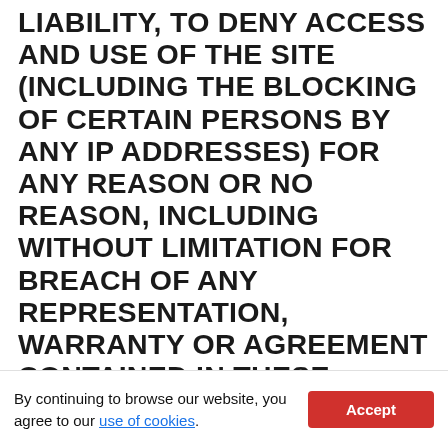LIABILITY, TO DENY ACCESS AND USE OF THE SITE (INCLUDING THE BLOCKING OF CERTAIN PERSONS BY ANY IP ADDRESSES) FOR ANY REASON OR NO REASON, INCLUDING WITHOUT LIMITATION FOR BREACH OF ANY REPRESENTATION, WARRANTY OR AGREEMENT CONTAINED IN THESE TERMS OF USE OR ANY APPLICABLE LAW OR REGULATION. WE MAY TERMINATE YOUR USE OF OR PARTICIPATION IN THE SITE OR REMOVE ANY CONTENT OR INFORMATION POSTED BY YOU
By continuing to browse our website, you agree to our use of cookies.